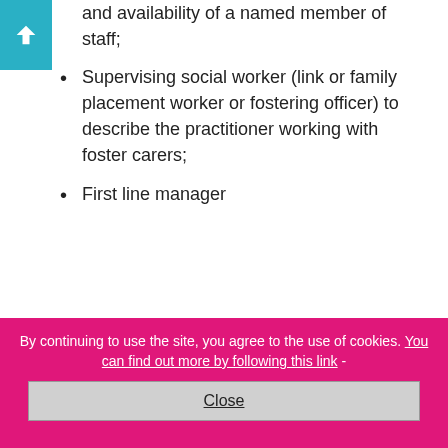and availability of a named member of staff;
Supervising social worker (link or family placement worker or fostering officer) to describe the practitioner working with foster carers;
First line manager
By continuing to use the site, you agree to the use of cookies. You can find out more by following this link -
Close